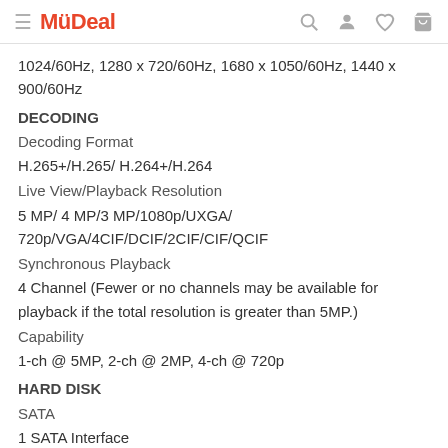MyDeal
1024/60Hz, 1280 x 720/60Hz, 1680 x 1050/60Hz, 1440 x 900/60Hz
DECODING
Decoding Format
H.265+/H.265/ H.264+/H.264
Live View/Playback Resolution
5 MP/ 4 MP/3 MP/1080p/UXGA/720p/VGA/4CIF/DCIF/2CIF/CIF/QCIF
Synchronous Playback
4 Channel (Fewer or no channels may be available for playback if the total resolution is greater than 5MP.)
Capability
1-ch @ 5MP, 2-ch @ 2MP, 4-ch @ 720p
HARD DISK
SATA
1 SATA Interface
Capacity